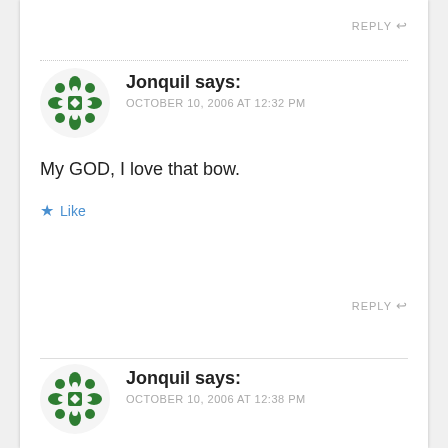REPLY ↩
Jonquil says: OCTOBER 10, 2006 AT 12:32 PM
My GOD, I love that bow.
★ Like
REPLY ↩
Jonquil says: OCTOBER 10, 2006 AT 12:38 PM
Isaac needs to 'splain where the Hell outside the